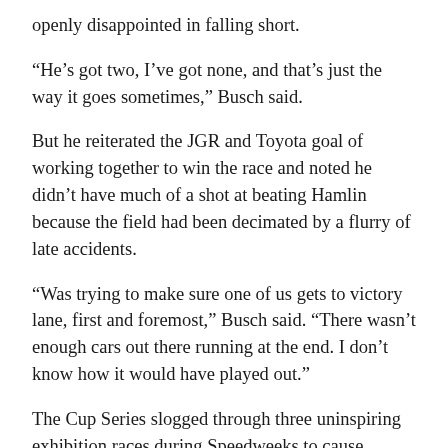openly disappointed in falling short.
“He’s got two, I’ve got none, and that’s just the way it goes sometimes,” Busch said.
But he reiterated the JGR and Toyota goal of working together to win the race and noted he didn’t have much of a shot at beating Hamlin because the field had been decimated by a flurry of late accidents.
“Was trying to make sure one of us gets to victory lane, first and foremost,” Busch said. “There wasn’t enough cars out there running at the end. I don’t know how it would have played out.”
The Cup Series slogged through three uninspiring exhibition races during Speedweeks to cause concern over a potentially disappointing main event. Jim France, who took over as chairman of NASCAR last August, used the pre-race driver meeting to ask the